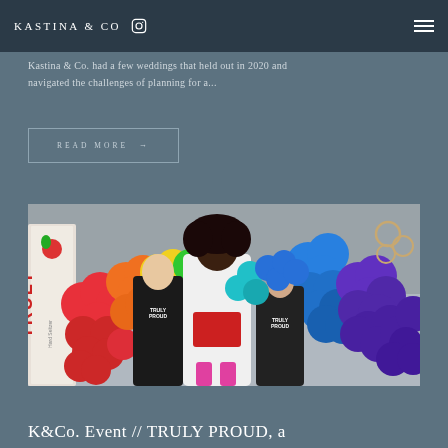KASTINA & CO [instagram icon] [menu icon]
Kastina & Co. had a few weddings that held out in 2020 and navigated the challenges of planning for a...
READ MORE →
[Figure (photo): Three women posing in front of a colorful rainbow balloon arch at a TRULY Hard Seltzer 'TRULY PROUD' event. The woman in the center is tall with large natural hair wearing a floral outfit with red skirt. The two flanking women wear black 'TRULY PROUD' t-shirts. A TRULY Hard Seltzer banner is visible on the left.]
K&Co. Event // TRULY PROUD, a